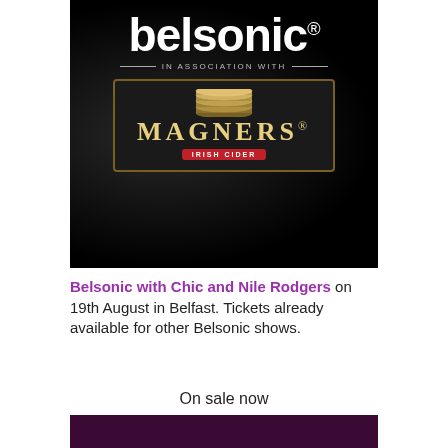[Figure (logo): Belsonic logo in white on black background, with 'IN ASSOCIATION WITH' text and Magners Irish Cider logo below]
Belsonic with Chic and Nile Rodgers on 19th August in Belfast. Tickets already available for other Belsonic shows.
On sale now
[Figure (photo): Dark purple/maroon background image, bottom portion of page]